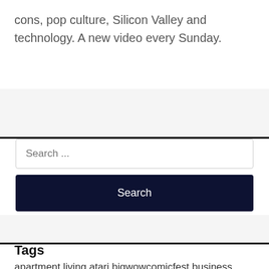cons, pop culture, Silicon Valley and technology. A new video every Sunday.
Search ...
Search
Tags
apartment living atari bigwowcomicfest business